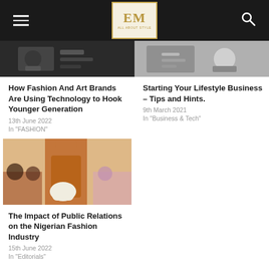EM ALL ABOUT STYLE
[Figure (photo): Top portion of fashion/art technology article thumbnail image, dark background]
How Fashion And Art Brands Are Using Technology to Hook Younger Generation
13th June 2022
In "FASHION"
[Figure (photo): Lifestyle business article thumbnail, monochrome/grey tones]
Starting Your Lifestyle Business – Tips and Hints.
9th March 2021
In "Business & Tech"
[Figure (photo): Fashion runway photo showing model in orange/rust colored dress with audience in background]
The Impact of Public Relations on the Nigerian Fashion Industry
15th June 2022
In "Editorials"